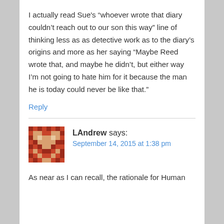I actually read Sue's “whoever wrote that diary couldn’t reach out to our son this way” line of thinking less as as detective work as to the diary’s origins and more as her saying “Maybe Reed wrote that, and maybe he didn’t, but either way I’m not going to hate him for it because the man he is today could never be like that.”
Reply
[Figure (illustration): Pixel art avatar of LAndrew — a brick-red and beige pixelated figure resembling a retro video game character]
LAndrew says:
September 14, 2015 at 1:38 pm
As near as I can recall, the rationale for Human